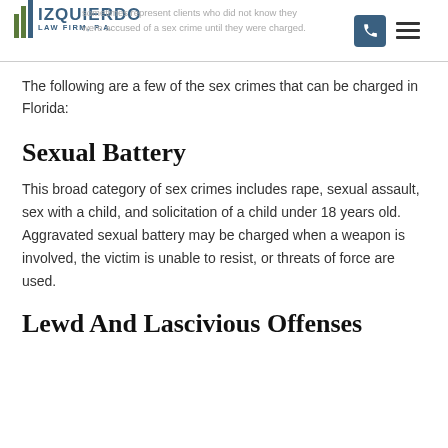Izquierdo Law Firm, P.A.
sometimes represent clients who did not know they were accused of a sex crime until they were charged.
The following are a few of the sex crimes that can be charged in Florida:
Sexual Battery
This broad category of sex crimes includes rape, sexual assault, sex with a child, and solicitation of a child under 18 years old. Aggravated sexual battery may be charged when a weapon is involved, the victim is unable to resist, or threats of force are used.
Lewd And Lascivious Offenses